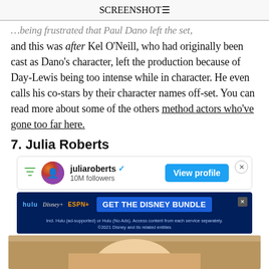SCREENSHOT
…being frustrated that Paul Dano left the set, and this was after Kel O'Neill, who had originally been cast as Dano's character, left the production because of Day-Lewis being too intense while in character. He even calls his co-stars by their character names off-set. You can read more about some of the others method actors who've gone too far here.
7. Julia Roberts
[Figure (screenshot): Instagram-style ad widget showing juliaroberts profile with verified badge, 10M followers, and a blue View profile button]
[Figure (screenshot): Disney Bundle advertisement banner with Hulu, Disney+, ESPN+ logos and GET THE DISNEY BUNDLE CTA on dark blue background]
[Figure (photo): Partial photo of a blonde woman (Julia Roberts) in warm-toned indoor setting]